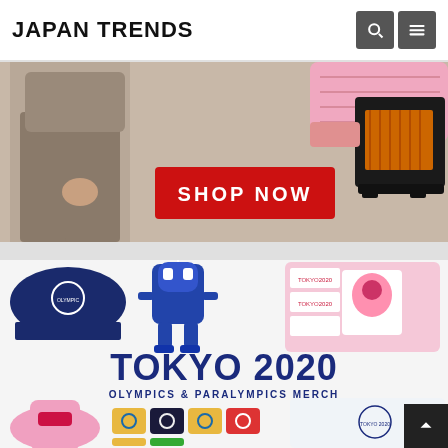JAPAN TRENDS
[Figure (photo): Advertisement banner showing a person in brown trousers, pink heated cushion, black heater, and a red SHOP NOW button]
[Figure (photo): Tokyo 2020 Olympics and Paralympics merchandise banner featuring a navy Olympic cap, robot mascot figure, pink merchandise boxes, pink kimono, pin badges, and a white t-shirt with text: TOKYO 2020 OLYMPICS & PARALYMPICS MERCH]